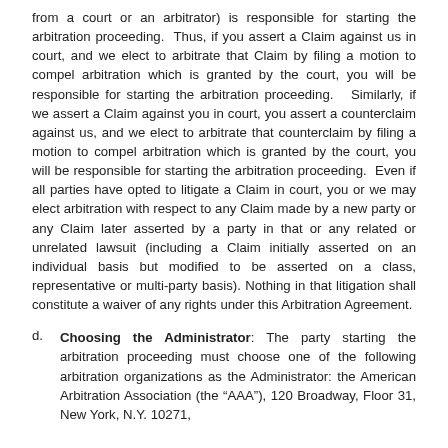from a court or an arbitrator) is responsible for starting the arbitration proceeding. Thus, if you assert a Claim against us in court, and we elect to arbitrate that Claim by filing a motion to compel arbitration which is granted by the court, you will be responsible for starting the arbitration proceeding. Similarly, if we assert a Claim against you in court, you assert a counterclaim against us, and we elect to arbitrate that counterclaim by filing a motion to compel arbitration which is granted by the court, you will be responsible for starting the arbitration proceeding. Even if all parties have opted to litigate a Claim in court, you or we may elect arbitration with respect to any Claim made by a new party or any Claim later asserted by a party in that or any related or unrelated lawsuit (including a Claim initially asserted on an individual basis but modified to be asserted on a class, representative or multi-party basis). Nothing in that litigation shall constitute a waiver of any rights under this Arbitration Agreement.
d. Choosing the Administrator: The party starting the arbitration proceeding must choose one of the following arbitration organizations as the Administrator: the American Arbitration Association (the “AAA”), 120 Broadway, Floor 31, New York, N.Y. 10271, www.adr.org